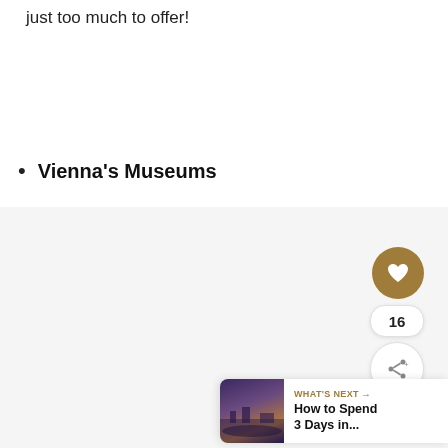just too much to offer!
Vienna's Museums
[Figure (photo): Large image area with light gray background, partially visible, showing a travel/tourism related photo. Overlaid UI elements include a gold heart/favorite button, a count badge showing 16, and a share button. A 'What's Next' card is visible in the lower right corner showing a thumbnail of a purple-toned scenic photo and the text 'WHAT'S NEXT → How to Spend 3 Days in...']